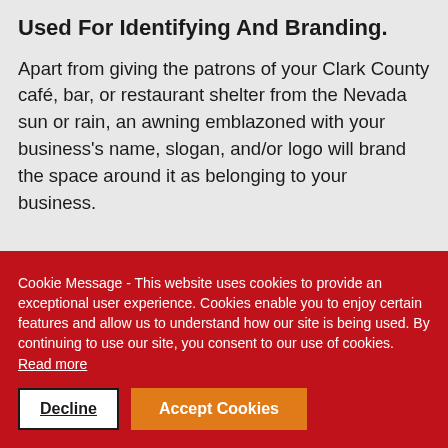Used For Identifying And Branding.
Apart from giving the patrons of your Clark County café, bar, or restaurant shelter from the Nevada sun or rain, an awning emblazoned with your business's name, slogan, and/or logo will brand the space around it as belonging to your business.
Cookie Message - This website uses cookies to provide an exceptional user experience. Cookies enable you to enjoy certain features and allow us to understand how our site is being used. By continuing to use our site, you consent to our use of cookies. Read more
Decline
Accept Cookies